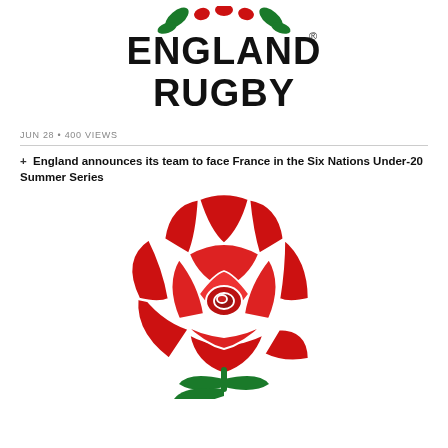[Figure (logo): England Rugby logo: red rose with green leaves and text ENGLAND RUGBY in bold black letters with registered trademark symbol]
JUN 28 • 400 VIEWS
+ England announces its team to face France in the Six Nations Under-20 Summer Series
[Figure (logo): England Rugby red rose emblem — large red rose with white outline details and green leaves at the base]